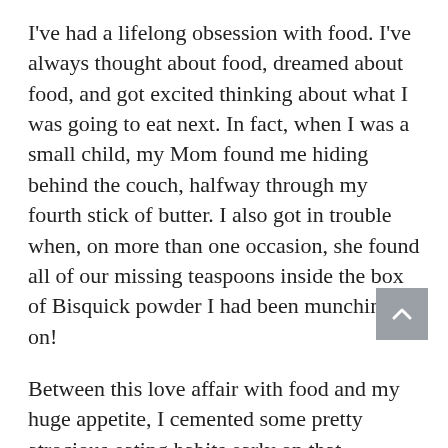I've had a lifelong obsession with food. I've always thought about food, dreamed about food, and got excited thinking about what I was going to eat next. In fact, when I was a small child, my Mom found me hiding behind the couch, halfway through my fourth stick of butter. I also got in trouble when, on more than one occasion, she found all of our missing teaspoons inside the box of Bisquick powder I had been munching on!
Between this love affair with food and my huge appetite, I cemented some pretty atrocious eating habits early on that followed me into my late teens. For a while, because I was so physically active through competitive